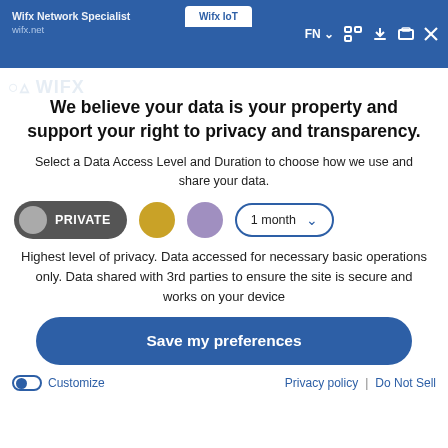Wifx Network Specialist | Wifx IoT | FN | wifx.net
We believe your data is your property and support your right to privacy and transparency.
Select a Data Access Level and Duration to choose how we use and share your data.
PRIVATE  [gold circle]  [purple circle]  1 month ▾
Highest level of privacy. Data accessed for necessary basic operations only. Data shared with 3rd parties to ensure the site is secure and works on your device
Save my preferences
Customize  |  Privacy policy  |  Do Not Sell